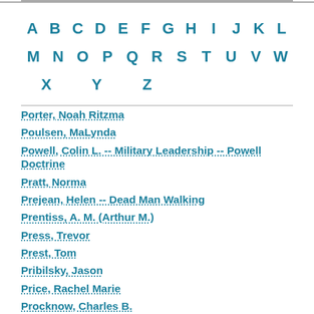A B C D E F G H I J K L
M N O P Q R S T U V W
X Y Z
Porter, Noah Ritzma
Poulsen, MaLynda
Powell, Colin L. -- Military Leadership -- Powell Doctrine
Pratt, Norma
Prejean, Helen -- Dead Man Walking
Prentiss, A. M. (Arthur M.)
Press, Trevor
Prest, Tom
Pribilsky, Jason
Price, Rachel Marie
Procknow, Charles B.